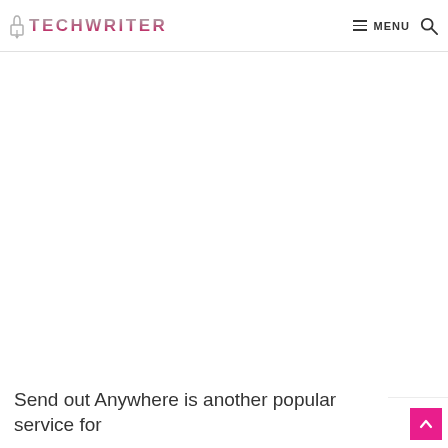TECHWRITER — MENU [search]
[Figure (other): Large white/blank advertisement or image placeholder area below the navigation header]
Send out Anywhere is another popular service for